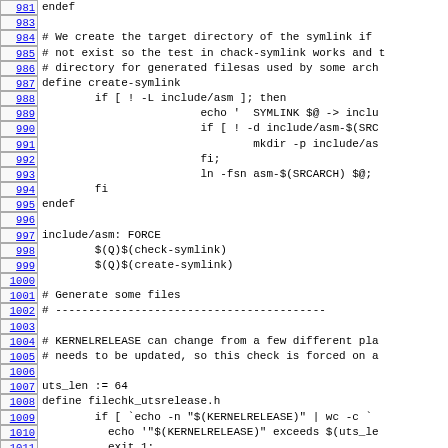Code listing lines 981-1012 of a Linux kernel Makefile
981: endef
983: (blank)
984: # We create the target directory of the symlink if
985: # not exist so the test in chack-symlink works and t
986: # directory for generated filesas used by some arch
987: define create-symlink
988:         if [ ! -L include/asm ]; then
989:                         echo '  SYMLINK $@ -> inclu
990:                         if [ ! -d include/asm-$(SRC
991:                                 mkdir -p include/as
992:                         fi;
993:                         ln -fsn asm-$(SRCARCH) $@;
994:         fi
995: endef
996: (blank)
997: include/asm: FORCE
998:         $(Q)$(check-symlink)
999:         $(Q)$(create-symlink)
1000: (blank)
1001: # Generate some files
1002: # -------------------...
1003: (blank)
1004: # KERNELRELEASE can change from a few different pla
1005: # needs to be updated, so this check is forced on a
1006: (blank)
1007: uts_len := 64
1008: define filechk_utsrelease.h
1009:         if [ `echo -n "$(KERNELRELEASE)" | wc -c `
1010:           echo '"$(KERNELRELEASE)" exceeds $(uts_le
1011:           exit 1;
1012:         fi;